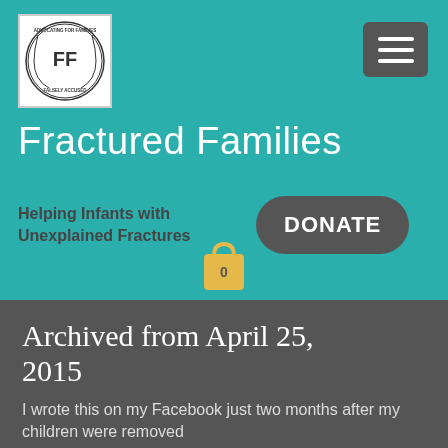[Figure (logo): Fractured Families circular logo with 'FF' in center and text around the border]
Fractured Families
Helping Infants with Unexplained Fractures
[Figure (other): DONATE button - dark rounded rectangle with white text]
[Figure (other): Shopping cart icon in gold/yellow with '0' label]
Archived from April 25, 2015
I wrote this on my Facebook just two months after my children were removed